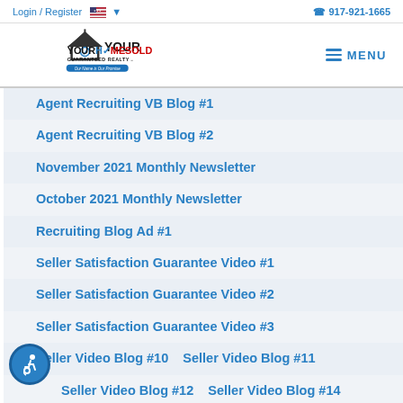Login / Register   🇺🇸 ▾   917-921-1665
[Figure (logo): Your Home Sold Guaranteed Realty logo with house icon and tagline 'Our Name is Our Promise']
Agent Recruiting VB Blog #1
Agent Recruiting VB Blog #2
November 2021 Monthly Newsletter
October 2021 Monthly Newsletter
Recruiting Blog Ad #1
Seller Satisfaction Guarantee Video #1
Seller Satisfaction Guarantee Video #2
Seller Satisfaction Guarantee Video #3
Seller Video Blog #10   Seller Video Blog #11
Seller Video Blog #12   Seller Video Blog #14
Seller Video Blog #15   Seller Video Blog #16
Seller Video Blog #19   Seller Video Blog #2